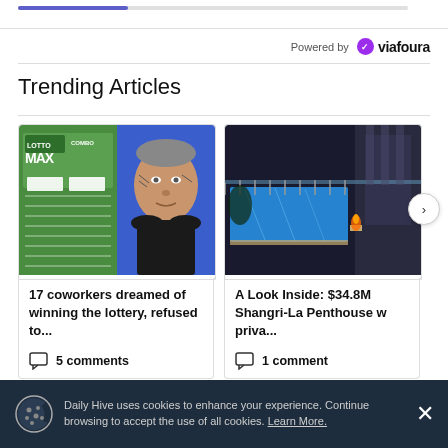[Figure (screenshot): Top browser progress bar area with blue progress indicator]
Powered by viafoura
Trending Articles
[Figure (photo): Lotto Max combo ticket and man with face tattoos]
17 coworkers dreamed of winning the lottery, refused to...
5 comments
[Figure (photo): Luxury rooftop pool at night - Shangri-La Penthouse]
A Look Inside: $34.8M Shangri-La Penthouse w priva...
1 comment
Daily Hive uses cookies to enhance your experience. Continue browsing to accept the use of all cookies. Learn More.